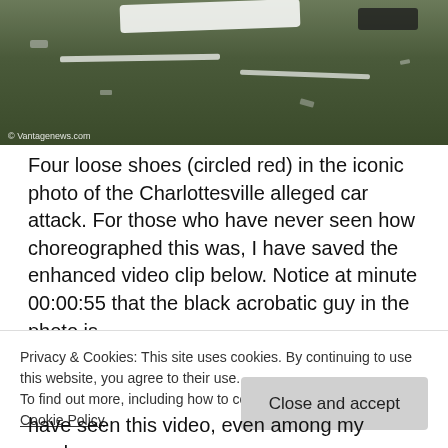[Figure (photo): A ground-level photo showing debris, white cloth, and scattered items on pavement, with a copyright watermark reading '© Vantagenews.com' in the lower left corner.]
Four loose shoes (circled red) in the iconic photo of the Charlottesville alleged car attack. For those who have never seen how choreographed this was, I have saved the enhanced video clip below. Notice at minute 00:00:55 that the black acrobatic guy in the photo is
Privacy & Cookies: This site uses cookies. By continuing to use this website, you agree to their use.
To find out more, including how to control cookies, see here: Cookie Policy
have seen this video, even among my readers.